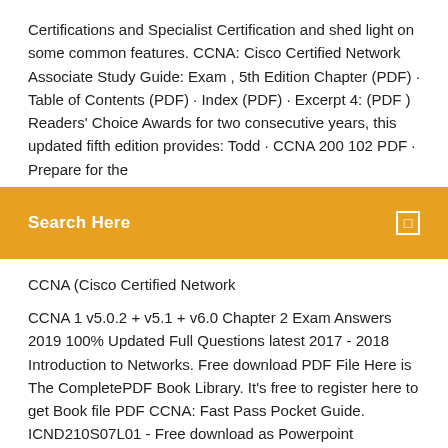Certifications and Specialist Certification and shed light on some common features. CCNA: Cisco Certified Network Associate Study Guide: Exam , 5th Edition Chapter (PDF) · Table of Contents (PDF) · Index (PDF) · Excerpt 4: (PDF ) Readers' Choice Awards for two consecutive years, this updated fifth edition provides: Todd · CCNA 200 102 PDF · Prepare for the
Search Here
CCNA (Cisco Certified Network
CCNA 1 v5.0.2 + v5.1 + v6.0 Chapter 2 Exam Answers 2019 100% Updated Full Questions latest 2017 - 2018 Introduction to Networks. Free download PDF File Here is The CompletePDF Book Library. It's free to register here to get Book file PDF CCNA: Fast Pass Pocket Guide. ICND210S07L01 - Free download as Powerpoint Presentation (.ppt / .pps), PDF File (.pdf), Text File (.txt) or view presentation slides online.